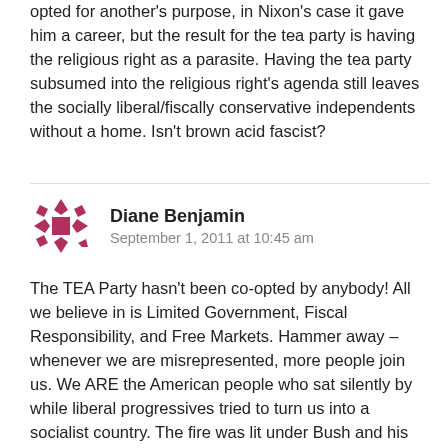opted for another's purpose, in Nixon's case it gave him a career, but the result for the tea party is having the religious right as a parasite. Having the tea party subsumed into the religious right's agenda still leaves the socially liberal/fiscally conservative independents without a home. Isn't brown acid fascist?
Diane Benjamin
September 1, 2011 at 10:45 am
The TEA Party hasn't been co-opted by anybody! All we believe in is Limited Government, Fiscal Responsibility, and Free Markets. Hammer away – whenever we are misrepresented, more people join us. We ARE the American people who sat silently by while liberal progressives tried to turn us into a socialist country. The fire was lit under Bush and his growth of government, but it blew up under Obama because of his out-of-control spending that accomplished NOTHING! We actually care